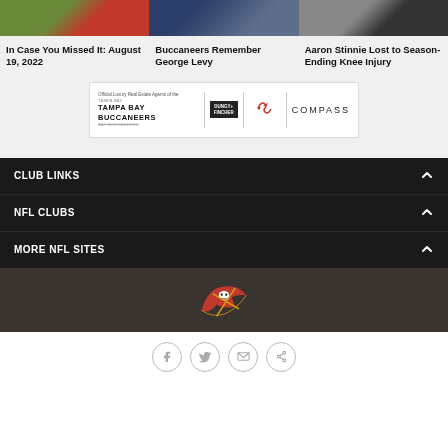[Figure (photo): Three article card images in a row]
In Case You Missed It: August 19, 2022
Buccaneers Remember George Levy
Aaron Stinnie Lost to Season-Ending Knee Injury
[Figure (logo): Tampa Bay Buccaneers official luxury real estate agents ad banner featuring Dungy+Fincher, Buccaneers logo, and Compass]
CLUB LINKS
NFL CLUBS
MORE NFL SITES
[Figure (logo): Tampa Bay Buccaneers logo in dark footer]
[Figure (infographic): Social share buttons: Facebook, Twitter, Email, Link]